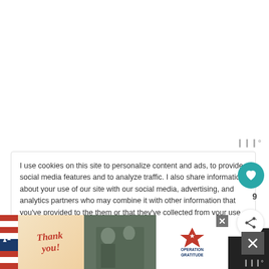[Figure (screenshot): White area at top of page representing blank/content area of a webpage]
I use cookies on this site to personalize content and ads, to provide social media features and to analyze traffic. I also share information about your use of our site with our social media, advertising, and analytics partners who may combine it with other information that you've provided to the them or that they've collected from your use of their services. Privacy & Cookie Policy
[Figure (screenshot): Advertisement banner at bottom: Thank you message with American flag motif, soldiers image, and Operation Gratitude logo with close buttons]